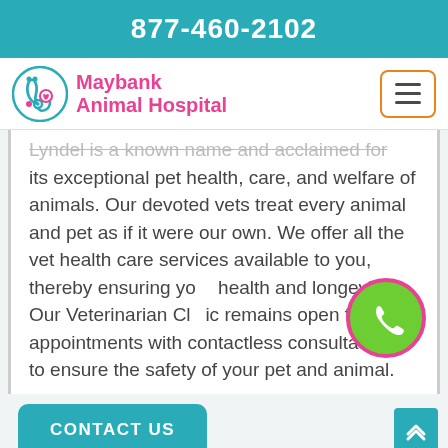877-460-2102
[Figure (logo): Maybank Animal Hospital logo with stethoscope and teal/pink coloring]
Maybank Animal Hospital
Lyndel is a known name and acclaimed for its exceptional pet health, care, and welfare of animals. Our devoted vets treat every animal and pet as if it were our own. We offer all the vet health care services available to you, thereby ensuring your health and longevity. Our Veterinarian Clinic remains open for all appointments with contactless consultations to ensure the safety of your pet and animal.
[Figure (illustration): Green phone bubble icon with pink border]
CONTACT US